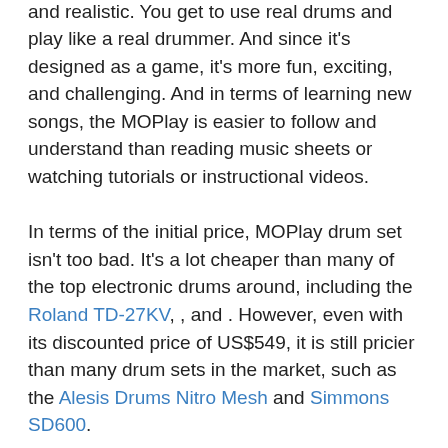rhythm games like Guitar Hero, it is immersive and realistic. You get to use real drums and play like a real drummer. And since it's designed as a game, it's more fun, exciting, and challenging. And in terms of learning new songs, the MOPlay is easier to follow and understand than reading music sheets or watching tutorials or instructional videos.
In terms of the initial price, MOPlay drum set isn't too bad. It's a lot cheaper than many of the top electronic drums around, including the Roland TD-27KV, , and . However, even with its discounted price of US$549, it is still pricier than many drum sets in the market, such as the Alesis Drums Nitro Mesh and Simmons SD600.